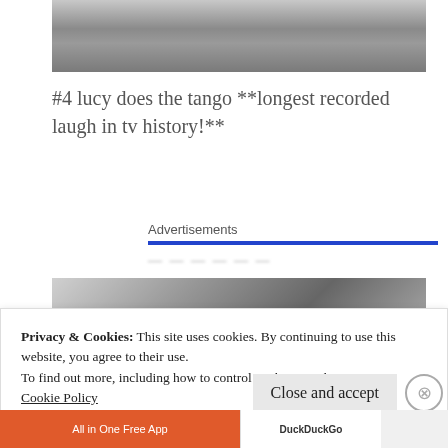[Figure (photo): Black and white photo, top portion showing what appears to be human skin/body, cropped at top of page]
#4 lucy does the tango **longest recorded laugh in tv history!**
Advertisements
[Figure (photo): Black and white photo showing a person with curly/fluffy hair near what appears to be a window or doorframe]
Privacy & Cookies: This site uses cookies. By continuing to use this website, you agree to their use.
To find out more, including how to control cookies, see here: Cookie Policy
[Figure (screenshot): Bottom advertisement bar showing DuckDuckGo 'All in One Free App' advertisement]